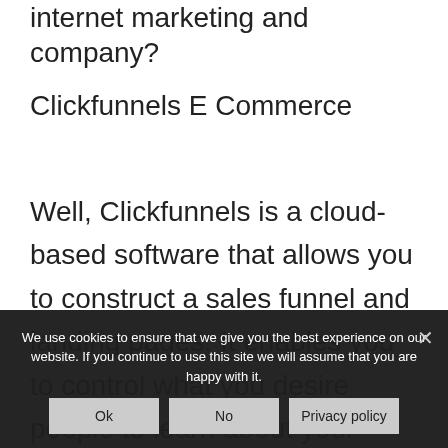internet marketing and company?
Clickfunnels E Commerce
Well, Clickfunnels is a cloud-based software that allows you to construct a sales funnel and landing pages. It enables you to control what you desire people to learn about your company at
We use cookies to ensure that we give you the best experience on our website. If you continue to use this site we will assume that you are happy with it.